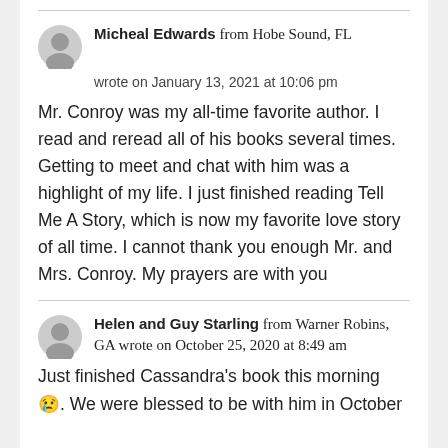Micheal Edwards from Hobe Sound, FL wrote on January 13, 2021 at 10:06 pm
Mr. Conroy was my all-time favorite author. I read and reread all of his books several times. Getting to meet and chat with him was a highlight of my life. I just finished reading Tell Me A Story, which is now my favorite love story of all time. I cannot thank you enough Mr. and Mrs. Conroy. My prayers are with you
Helen and Guy Starling from Warner Robins, GA wrote on October 25, 2020 at 8:49 am
Just finished Cassandra's book this morning 😢. We were blessed to be with him in October